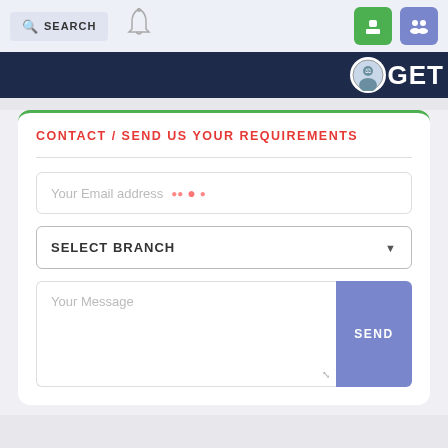SEARCH [bell icon] [lock icon] [group icon]
[Figure (screenshot): Dark navy banner with logo circle and GET text]
CONTACT / SEND US YOUR REQUIREMENTS
[Figure (screenshot): Web contact form with email address field, select branch dropdown, message textarea, and SEND button]